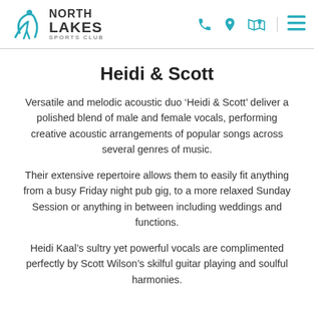North Lakes Sports Club header with logo, phone, location, map, and menu icons
Heidi & Scott
Versatile and melodic acoustic duo ‘Heidi & Scott’ deliver a polished blend of male and female vocals, performing creative acoustic arrangements of popular songs across several genres of music.
Their extensive repertoire allows them to easily fit anything from a busy Friday night pub gig, to a more relaxed Sunday Session or anything in between including weddings and functions.
Heidi Kaal’s sultry yet powerful vocals are complimented perfectly by Scott Wilson’s skilful guitar playing and soulful harmonies.